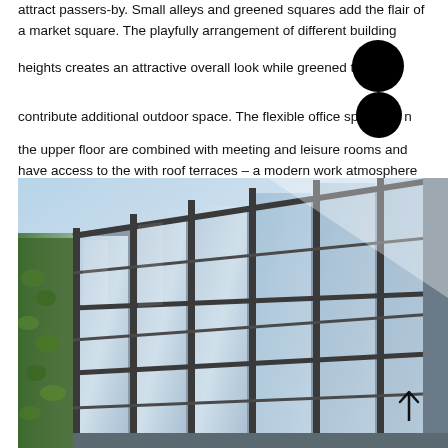attract passers-by. Small alleys and greened squares add the flair of a market square. The playfully arrangement of different building heights creates an attractive overall look while greened terraces contribute additional outdoor space. The flexible office spaces on the upper floor are combined with meeting and leisure rooms and have access to the with roof terraces – a modern work atmosphere in the midst of an urban oasis.
[Figure (photo): Modern office building facade with floor-to-ceiling glass windows framed in dark grey metal, viewed from a low angle against a pale blue sky. Green climbing plants/ivy visible on the left side of the building.]